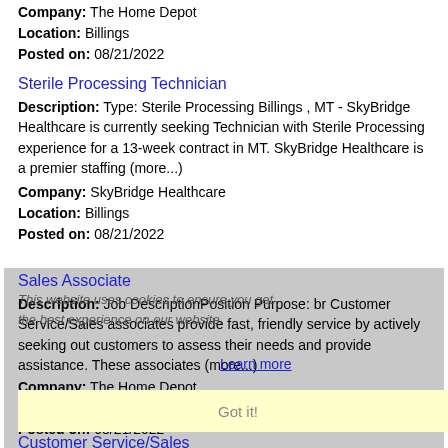Company: The Home Depot
Location: Billings
Posted on: 08/21/2022
Sterile Processing Technician
Description: Type: Sterile Processing Billings , MT - SkyBridge Healthcare is currently seeking Technician with Sterile Processing experience for a 13-week contract in MT. SkyBridge Healthcare is a premier staffing (more...)
Company: SkyBridge Healthcare
Location: Billings
Posted on: 08/21/2022
Sales Associate
Description: Job DescriptionPosition Purpose: br Customer Service/Sales associates provide fast, friendly service by actively seeking out customers to assess their needs and provide assistance. These associates (more...)
Company: The Home Depot
Location: Manhattan
Posted on: 08/21/2022
Customer Service/Sales
Description: Job DescriptionPosition Purpose: br Customer